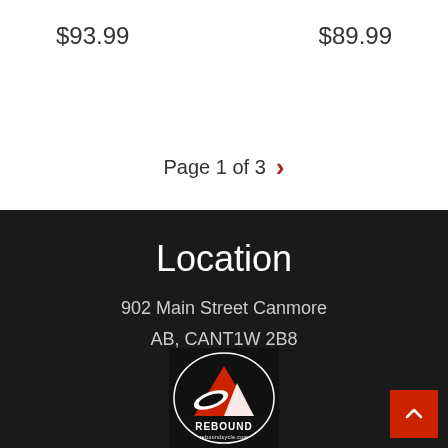$93.99
$89.99
Page 1 of 3
Location
902 Main Street Canmore
AB, CANT1W 2B8
[Figure (logo): Rebound logo on black background with oval border]
[Figure (other): Red back-to-top button with white upward chevron]